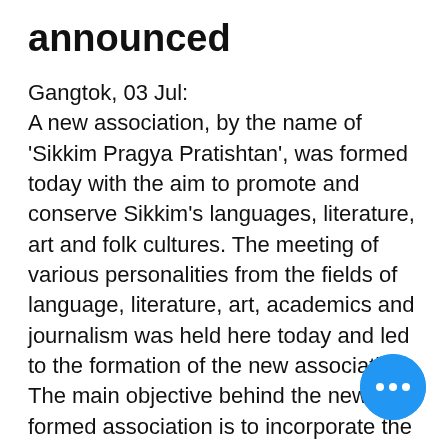announced
Gangtok, 03 Jul:
A new association, by the name of 'Sikkim Pragya Pratishtan', was formed today with the aim to promote and conserve Sikkim's languages, literature, art and folk cultures. The meeting of various personalities from the fields of language, literature, art, academics and journalism was held here today and led to the formation of the new association.
The main objective behind the newly-formed association is to incorporate the different languages and the cultures of the Sikkimese people and conserve these for the coming generations. Pratishtan will also seek to introduce
[Figure (other): Blue circular button with three white dots (more/ellipsis button)]